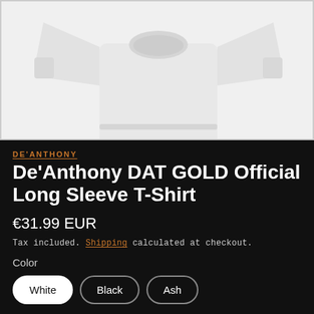[Figure (photo): White long sleeve t-shirt on a dark background, cropped to show torso and arms]
DE'ANTHONY
De'Anthony DAT GOLD Official Long Sleeve T-Shirt
€31.99 EUR
Tax included. Shipping calculated at checkout.
Color
White
Black
Ash